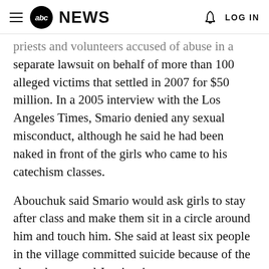abc NEWS  LOG IN
priests and volunteers accused of abuse in a separate lawsuit on behalf of more than 100 alleged victims that settled in 2007 for $50 million. In a 2005 interview with the Los Angeles Times, Smario denied any sexual misconduct, although he said he had been naked in front of the girls who came to his catechism classes.
Abouchuk said Smario would ask girls to stay after class and make them sit in a circle around him and touch him. She said at least six people in the village committed suicide because of the abuse by several Jesuit priests.